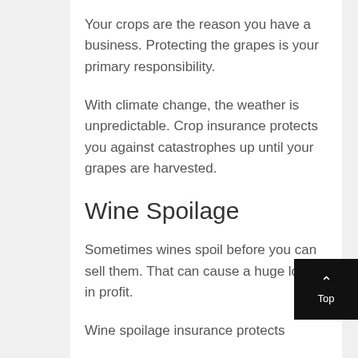Your crops are the reason you have a business. Protecting the grapes is your primary responsibility.
With climate change, the weather is unpredictable. Crop insurance protects you against catastrophes up until your grapes are harvested.
Wine Spoilage
Sometimes wines spoil before you can sell them. That can cause a huge loss in profit.
Wine spoilage insurance protects